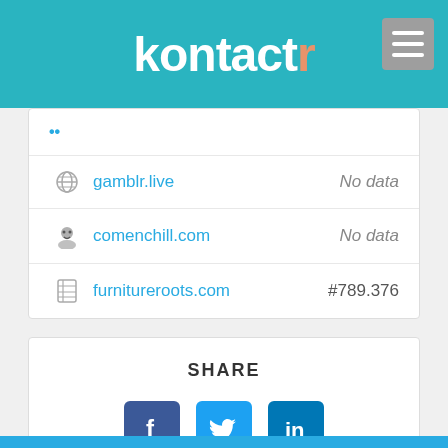kontactr
| Site | Rank |
| --- | --- |
| gamblr.live | No data |
| comenchill.com | No data |
| furnitureroots.com | #789.376 |
SHARE
[Figure (other): Social share buttons: Facebook, Twitter, LinkedIn]